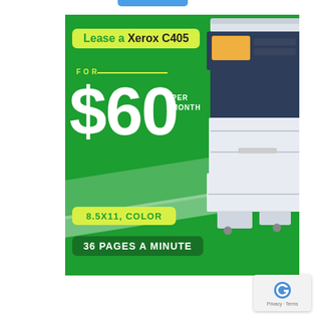[Figure (infographic): Xerox C405 printer lease advertisement. Green background with white border. Yellow badge: 'Lease a Xerox C405'. Text: 'FOR $60 PER MONTH'. Yellow badge: '8.5X11, COLOR'. Dark green badge: '36 PAGES A MINUTE'. Image of a Xerox C405 multifunction printer on the right side.]